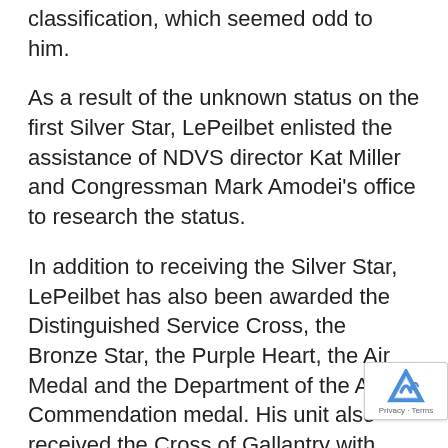classification, which seemed odd to him.
As a result of the unknown status on the first Silver Star, LePeilbet enlisted the assistance of NDVS director Kat Miller and Congressman Mark Amodei’s office to research the status.
In addition to receiving the Silver Star, LePeilbet has also been awarded the Distinguished Service Cross, the Bronze Star, the Purple Heart, the Air Medal and the Department of the Army Commendation medal. His unit also received the Cross of Gallantry with Palm award, the Presidential Unit Citation with one Oak Leaf Custer, the Vietnamese Cross of Gallantry with Palm and the Civil Action Honor Medal.
In civilian life, LePeilbet rose to vice president of U.S